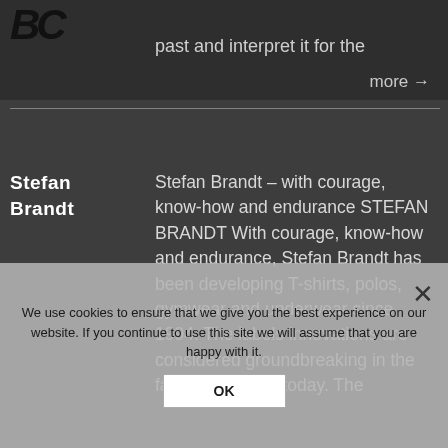[Figure (logo): Dark bold italic logo letters 'BC' or similar brand mark in top left]
past and interpret it for the
more →
Stefan Brandt
Stefan Brandt – with courage, know-how and endurance STEFAN BRANDT With courage, know-how and endurance, Stefan Brandt has been developing T-shirts, polos, gymwear and underwear since 1994. The labels innovations are considered groundbreaking in the fashion industry today. The
We use cookies to ensure that we give you the best experience on our website. If you continue to use this site we will assume that you are happy with it.
OK